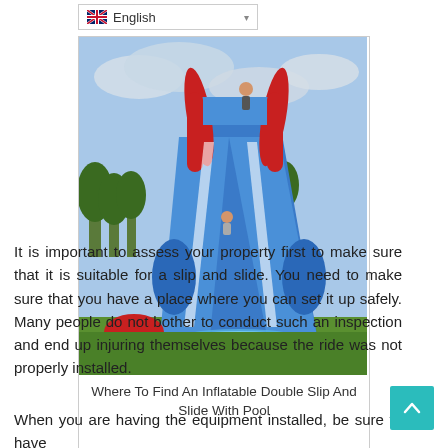English
[Figure (photo): Large inflatable double water slide with pool at bottom, blue and red colors, people sliding down, set on green grass with palm trees and cloudy sky in background]
Where To Find An Inflatable Double Slip And Slide With Pool
It is important to assess your property first to make sure that it is suitable for a slip and slide. You need to make sure that you have a place where you can set it up safely. Many people do not bother to conduct such an inspection and end up injuring themselves because the ride was not properly installed.
When you are having the equipment installed, be sure to have